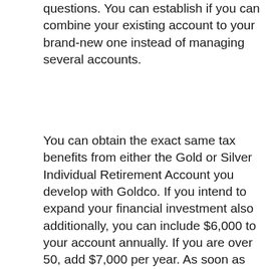questions. You can establish if you can combine your existing account to your brand-new one instead of managing several accounts.
You can obtain the exact same tax benefits from either the Gold or Silver Individual Retirement Account you develop with Goldco. If you intend to expand your financial investment also additionally, you can include $6,000 to your account annually. If you are over 50, add $7,000 per year. As soon as you are 59 1/2 years of ages, you can begin withdrawing funds from your account without incurring fines.
If you intend to find out more about Goldco as well as exactly how to establish a Rare-